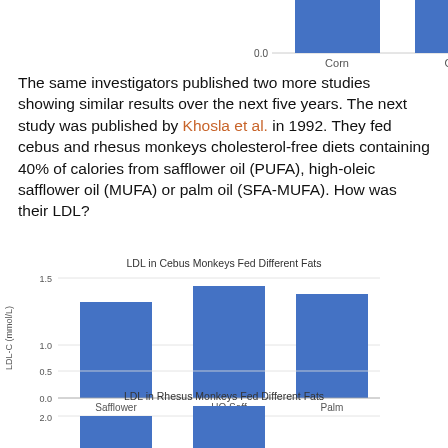[Figure (bar-chart): (partial top chart - Corn, Olive, Lard)]
The same investigators published two more studies showing similar results over the next five years. The next study was published by Khosla et al. in 1992. They fed cebus and rhesus monkeys cholesterol-free diets containing 40% of calories from safflower oil (PUFA), high-oleic safflower oil (MUFA) or palm oil (SFA-MUFA). How was their LDL?
[Figure (bar-chart): LDL in Cebus Monkeys Fed Different Fats]
[Figure (bar-chart): LDL in Rhesus Monkeys Fed Different Fats]